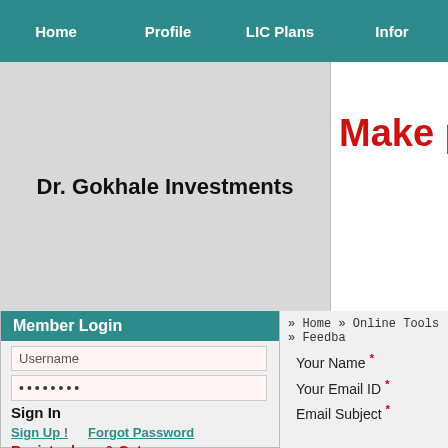Home  Profile  LIC Plans  Infor
[Figure (screenshot): Gray hero section with company name Dr. Gokhale Investments on left; white section with red text 'Make pro' visible on right]
Dr. Gokhale Investments
Make pro
Member Login
Username
........
Sign In
Sign Up !    Forgot Password
Register here & Get
» Home » Online Tools » Feedba
Your Name *
Your Email ID *
Email Subject *